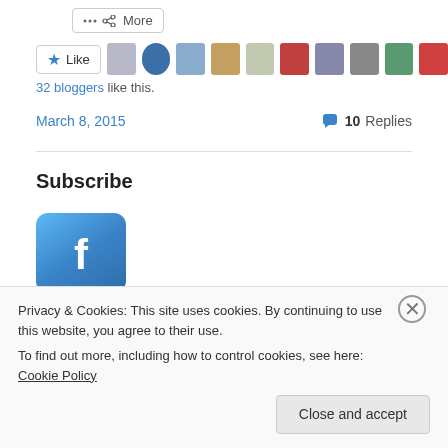More
[Figure (other): Like button with star icon and a row of 11 blogger avatar thumbnails]
32 bloggers like this.
March 8, 2015    10 Replies
Subscribe
[Figure (logo): Facebook app icon: rounded blue square with white lowercase f]
Privacy & Cookies: This site uses cookies. By continuing to use this website, you agree to their use.
To find out more, including how to control cookies, see here: Cookie Policy
Close and accept